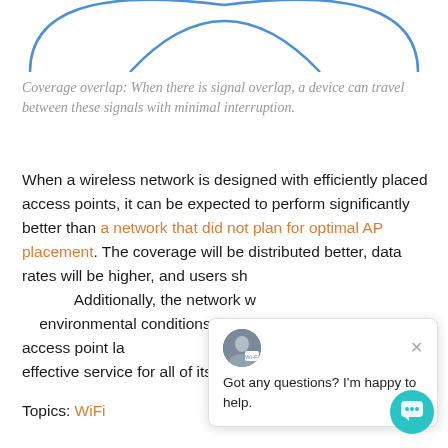[Figure (illustration): Partial view of overlapping circular WiFi signal coverage diagram, shown in blue arcs at the top of the page]
Coverage overlap: When there is signal overlap, a device can travel between these signals with minimal interruption.
When a wireless network is designed with efficiently placed access points, it can be expected to perform significantly better than a network that did not plan for optimal AP placement. The coverage will be distributed better, data rates will be higher, and users should experience fewer issues. Additionally, the network will be better able to adapt to environmental conditions and interference. With a good access point layout, the network will be equipped to provide effective service for all of its users.
Topics: WiFi